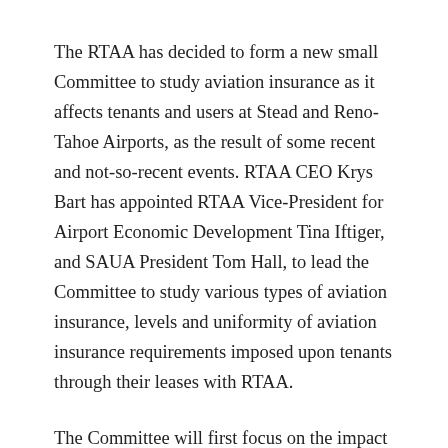The RTAA has decided to form a new small Committee to study aviation insurance as it affects tenants and users at Stead and Reno-Tahoe Airports, as the result of some recent and not-so-recent events. RTAA CEO Krys Bart has appointed RTAA Vice-President for Airport Economic Development Tina Iftiger, and SAUA President Tom Hall, to lead the Committee to study various types of aviation insurance, levels and uniformity of aviation insurance requirements imposed upon tenants through their leases with RTAA.
The Committee will first focus on the impact of possible changes to insurance requirements as it affects tenants and users...